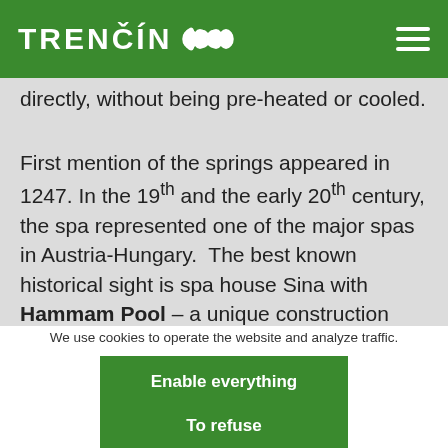TRENČÍN
directly, without being pre-heated or cooled.
First mention of the springs appeared in 1247. In the 19th and the early 20th century, the spa represented one of the major spas in Austria-Hungary. The best known historical sight is spa house Sina with Hammam Pool – a unique construction built in 1888 in the original Maori style. In the past, the pool
We use cookies to operate the website and analyze traffic.
Enable everything
To refuse
Adjust